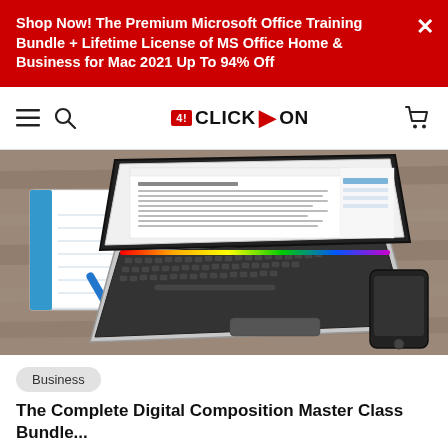Shop Now! The Premium Microsoft Office Training Bundle + Lifetime License of MS Office Home & Business for Mac 2021 Up To 94% Off
[Figure (screenshot): CLICK>ON website navigation bar with hamburger menu, search icon, logo, and cart icon]
[Figure (photo): Overhead view of a laptop on a wooden table open to a Word document, with a notepad, pen, glass of water, and smartphone nearby]
Business
The Complete Digital Composition Master Class Bundle...